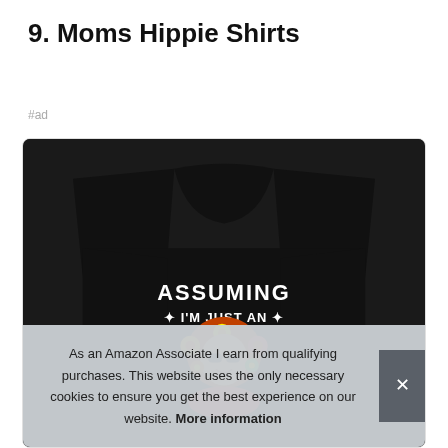9. Moms Hippie Shirts
#ad
[Figure (photo): Black t-shirt with colorful hippie girl graphic and text 'ASSUMING I'M JUST AN' on the front]
As an Amazon Associate I earn from qualifying purchases. This website uses the only necessary cookies to ensure you get the best experience on our website. More information